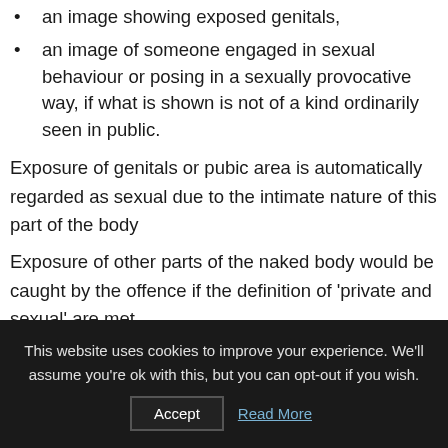an image showing exposed genitals,
an image of someone engaged in sexual behaviour or posing in a sexually provocative way, if what is shown is not of a kind ordinarily seen in public.
Exposure of genitals or pubic area is automatically regarded as sexual due to the intimate nature of this part of the body
Exposure of other parts of the naked body would be caught by the offence if the definition of ‘private and sexual’ are met.
This website uses cookies to improve your experience. We’ll assume you’re ok with this, but you can opt-out if you wish.